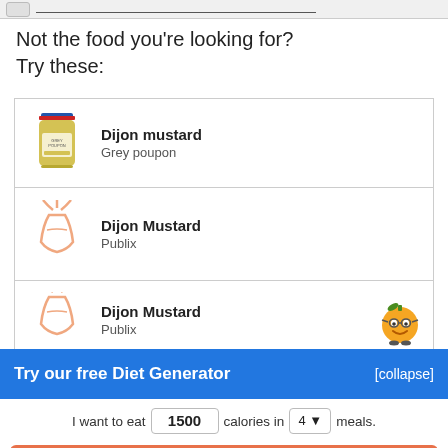Not the food you're looking for? Try these:
Dijon mustard — Grey poupon
Dijon Mustard — Publix
Dijon Mustard — Publix
Try our free Diet Generator [collapse]
I want to eat 1500 calories in 4 meals.
Generate